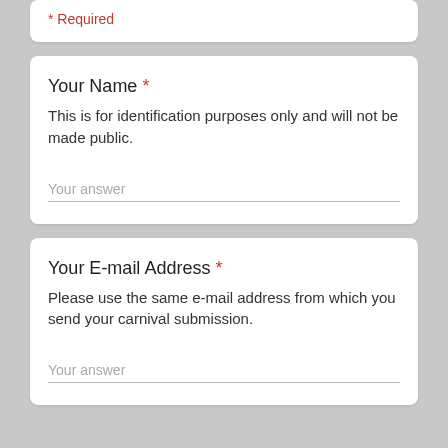* Required
Your Name *
This is for identification purposes only and will not be made public.
Your answer
Your E-mail Address *
Please use the same e-mail address from which you send your carnival submission.
Your answer